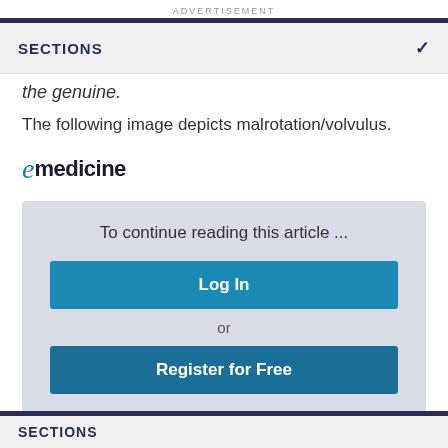ADVERTISEMENT
SECTIONS
the genuine.
The following image depicts malrotation/volvulus.
[Figure (logo): eMedicine logo with stylized italic 'e' in teal and 'medicine' in dark text]
To continue reading this article ...
Log In
or
Register for Free
SECTIONS